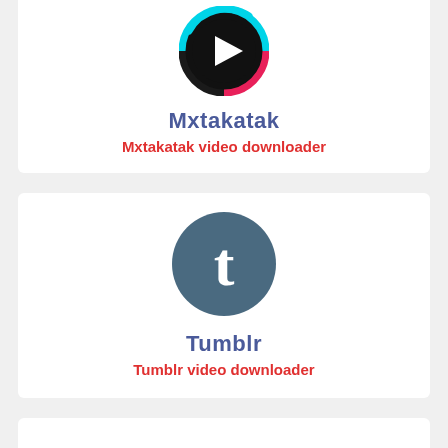[Figure (logo): Mxtakatak app logo: circular icon with cyan and pink ring, black background, white play triangle in center]
Mxtakatak
Mxtakatak video downloader
[Figure (logo): Tumblr app logo: dark teal/slate circle with white lowercase 't' letter]
Tumblr
Tumblr video downloader